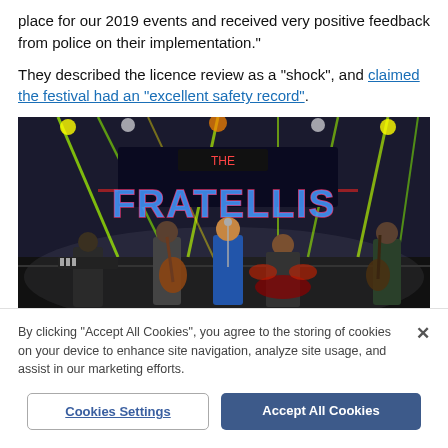place for our 2019 events and received very positive feedback from police on their implementation."
They described the licence review as a "shock", and claimed the festival had an "excellent safety record".
[Figure (photo): Concert photo showing a band performing on stage with 'FRATELLIS' written in large letters on a backdrop, with colorful stage lighting.]
By clicking "Accept All Cookies", you agree to the storing of cookies on your device to enhance site navigation, analyze site usage, and assist in our marketing efforts.
Cookies Settings
Accept All Cookies